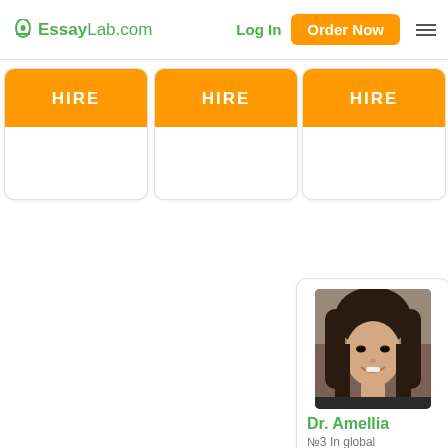EssayLab.com | Log In | Order Now
[Figure (screenshot): Three HIRE buttons in orange cards (partially visible)]
[Figure (photo): Photo of Dr. Amellia, a young woman with long dark hair, smiling]
Dr. Amellia
№3 In global rating
★★★★★
232144
Finished Custom Papers Review